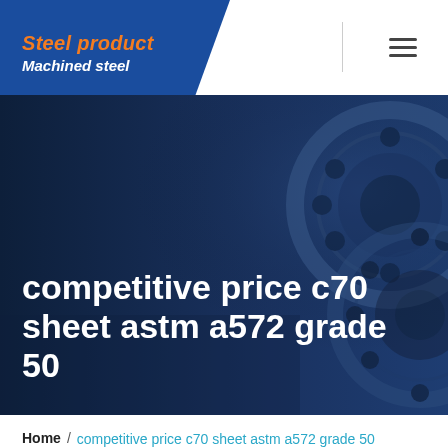Steel product / Machined steel
competitive price c70 sheet astm a572 grade 50
[Figure (photo): Dark navy blue background with close-up of machined steel gear/sprocket parts in the upper right, used as hero banner image]
Home / competitive price c70 sheet astm a572 grade 50